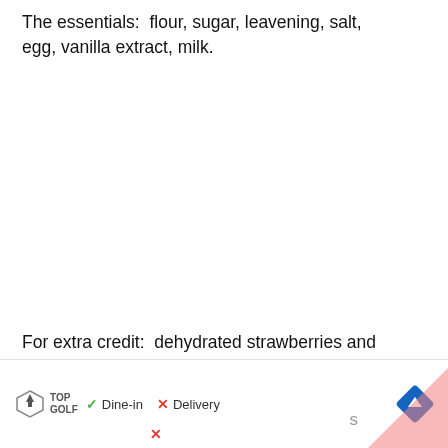The essentials: flour, sugar, leavening, salt, egg, vanilla extract, milk.
For extra credit: dehydrated strawberries and dry champagne. I found the dehydrated (not simp...
[Figure (other): Advertisement banner for Topgolf showing Dine-in (checkmark) and Delivery (X) options with a navigation arrow diamond icon and a red/pink corner element.]